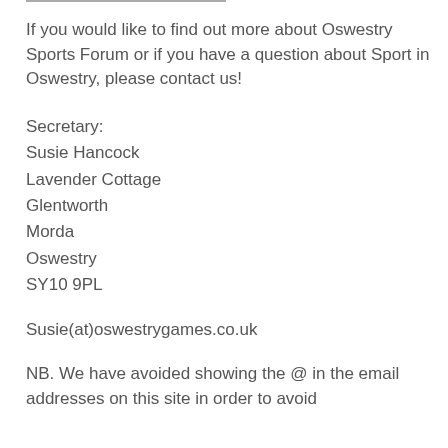If you would like to find out more about Oswestry Sports Forum or if you have a question about Sport in Oswestry, please contact us!
Secretary:
Susie Hancock
Lavender Cottage
Glentworth
Morda
Oswestry
SY10 9PL
Susie(at)oswestrygames.co.uk
NB. We have avoided showing the @ in the email addresses on this site in order to avoid